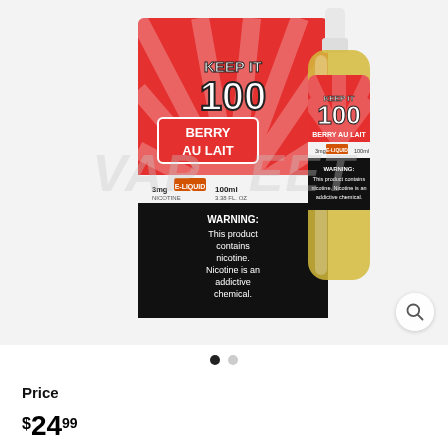[Figure (photo): Product photo of Keep It 100 Berry Au Lait e-liquid, showing a red box and yellow bottle with warning label about nicotine content. Watermark reads VAP...EET in background.]
Price
$24.99